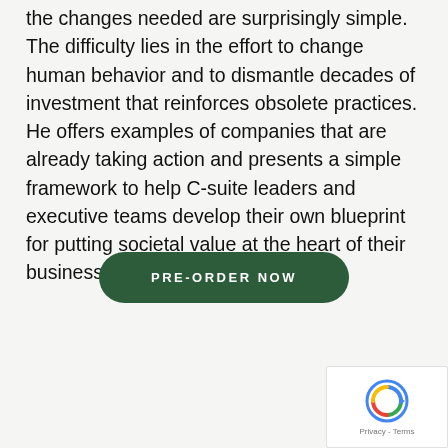the changes needed are surprisingly simple. The difficulty lies in the effort to change human behavior and to dismantle decades of investment that reinforces obsolete practices. He offers examples of companies that are already taking action and presents a simple framework to help C-suite leaders and executive teams develop their own blueprint for putting societal value at the heart of their business.
[Figure (other): Dark green rounded rectangle button with white uppercase text reading PRE-ORDER NOW]
[Figure (other): Google reCAPTCHA widget in bottom-right corner showing the reCAPTCHA logo and Privacy - Terms text]